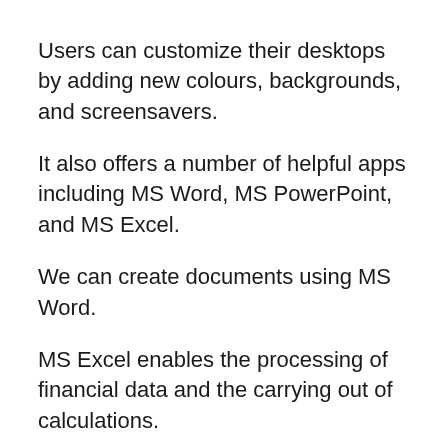Users can customize their desktops by adding new colours, backgrounds, and screensavers.
It also offers a number of helpful apps including MS Word, MS PowerPoint, and MS Excel.
We can create documents using MS Word.
MS Excel enables the processing of financial data and the carrying out of calculations.
Presentations can be made using MS PowerPoint.